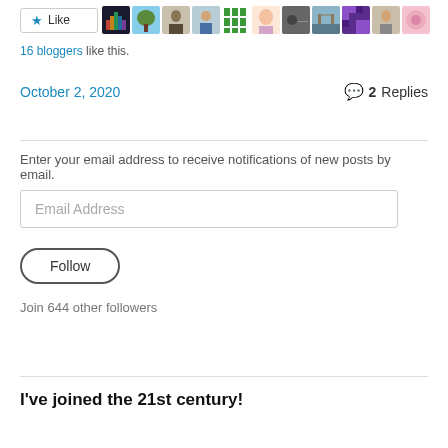[Figure (other): Like button with star icon and row of blogger avatar thumbnails]
16 bloggers like this.
October 2, 2020
2 Replies
Enter your email address to receive notifications of new posts by email.
Email Address
Follow
Join 644 other followers
I've joined the 21st century!